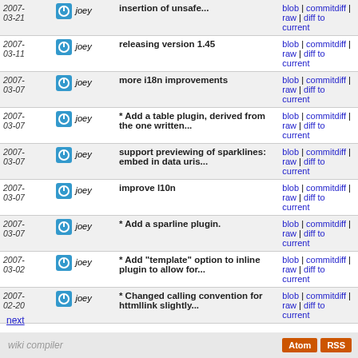| Date | Author | Message | Links |
| --- | --- | --- | --- |
| 2007-03-21 | joey | insertion of unsafe... | blob | commitdiff | raw | diff to current |
| 2007-03-11 | joey | releasing version 1.45 | blob | commitdiff | raw | diff to current |
| 2007-03-07 | joey | more i18n improvements | blob | commitdiff | raw | diff to current |
| 2007-03-07 | joey | * Add a table plugin, derived from the one written... | blob | commitdiff | raw | diff to current |
| 2007-03-07 | joey | support previewing of sparklines: embed in data uris... | blob | commitdiff | raw | diff to current |
| 2007-03-07 | joey | improve l10n | blob | commitdiff | raw | diff to current |
| 2007-03-07 | joey | * Add a sparline plugin. | blob | commitdiff | raw | diff to current |
| 2007-03-02 | joey | * Add "template" option to inline plugin to allow for... | blob | commitdiff | raw | diff to current |
| 2007-02-20 | joey | * Changed calling convention for httmllink slightly... | blob | commitdiff | raw | diff to current |
next
wiki compiler  Atom RSS